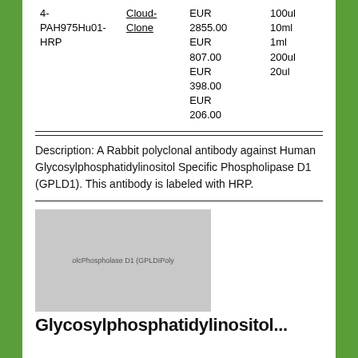| ID | Supplier | Price | Size |
| --- | --- | --- | --- |
| 4-PAH975Hu01-HRP | Cloud-Clone | EUR 2855.00
EUR 807.00
EUR 398.00
EUR 206.00 | 100ul
10ml
1ml
200ul
20ul |
Description: A Rabbit polyclonal antibody against Human Glycosylphosphatidylinositol Specific Phospholipase D1 (GPLD1). This antibody is labeled with HRP.
[Figure (photo): Placeholder image for Glycosylphosphatidylinositol Specific Phospholipase D1 (GPLD1) Polyclonal antibody product]
Glycosylphosphatidylinositol...